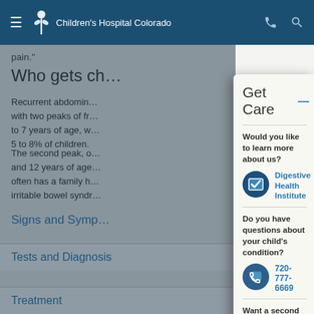Children's Hospital Colorado
pain."
Who gets ch…
Recurrent abdomin… with two peaks of fr… to 7 years of age, w… 5 to 8% of children.
The second peak, o… and 12 years of age… often has a family h… irritable bowel syndr…
Get Care
Would you like to learn more about us?
[Figure (illustration): Circular icon with checkbox on dark blue background]
Digestive Health Institute
Do you have questions about your child's condition?
[Figure (illustration): Circular phone icon on dark blue background]
720-777-6669
Want a second opinion?
[Figure (illustration): Circular icon with two checkboxes on dark blue background]
Get started
Signs and Symp…
Tests and Diagnosis
Treatment